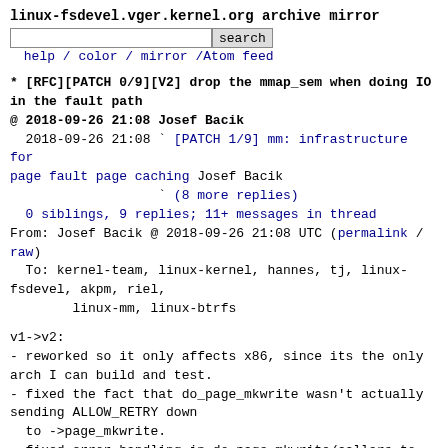linux-fsdevel.vger.kernel.org archive mirror
search  help / color / mirror / Atom feed
* [RFC][PATCH 0/9][V2] drop the mmap_sem when doing IO in the fault path
@ 2018-09-26 21:08 Josef Bacik
  2018-09-26 21:08 ` [PATCH 1/9] mm: infrastructure for page fault page caching Josef Bacik
                   ` (8 more replies)
  0 siblings, 9 replies; 11+ messages in thread
From: Josef Bacik @ 2018-09-26 21:08 UTC (permalink / raw)
  To: kernel-team, linux-kernel, hannes, tj, linux-fsdevel, akpm, riel,
        linux-mm, linux-btrfs
v1->v2:
- reworked so it only affects x86, since its the only arch I can build and test.
- fixed the fact that do_page_mkwrite wasn't actually sending ALLOW_RETRY down
  to ->page_mkwrite.
- fixed error handling in do_page_mkwrite/callers to explicitly catch
  VM_FAULT_RETRY.
- fixed btrfs to set ->cached_page properly.
This time I've verified that the ->page_mkwrite retry